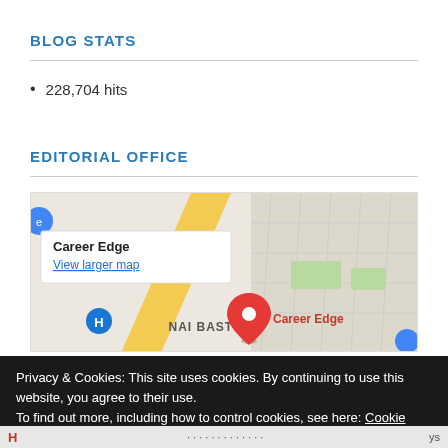BLOG STATS
228,704 hits
EDITORIAL OFFICE
[Figure (map): Google Maps embed showing Career Edge location in Nai Basti, with a popup showing 'Career Edge' and 'View larger map' link, and a red location pin labeled 'Career Edge'.]
Privacy & Cookies: This site uses cookies. By continuing to use this website, you agree to their use.
To find out more, including how to control cookies, see here: Cookie Policy
H ... ys